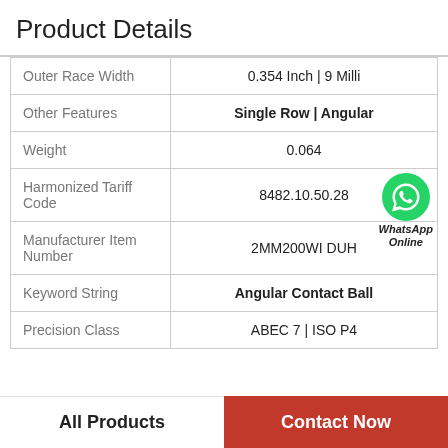Product Details
| Property | Value |
| --- | --- |
| Outer Race Width | 0.354 Inch | 9 Milli |
| Other Features | Single Row | Angular |
| Weight | 0.064 |
| Harmonized Tariff Code | 8482.10.50.28 |
| Manufacturer Item Number | 2MM200WI DUH |
| Keyword String | Angular Contact Ball |
| Precision Class | ABEC 7 | ISO P4 |
All Products   Contact Now